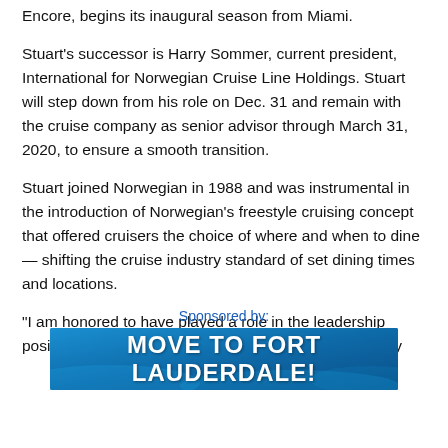Encore, begins its inaugural season from Miami.
Stuart’s successor is Harry Sommer, current president, International for Norwegian Cruise Line Holdings. Stuart will step down from his role on Dec. 31 and remain with the cruise company as senior advisor through March 31, 2020, to ensure a smooth transition.
Stuart joined Norwegian in 1988 and was instrumental in the introduction of Norwegian’s freestyle cruising concept that offered cruisers the choice of where and when to dine — shifting the cruise industry standard of set dining times and locations.
“I am honored to have played a role in the leadership position Norwegian now holds in this incredible industry and continue to be proud of the commitment, dedication and passion of our team for delivering a best-in-class
Sponsored by:
[Figure (illustration): Advertisement banner reading MOVE TO FORT LAUDERDALE! in white bold text on a blue ocean-themed background]